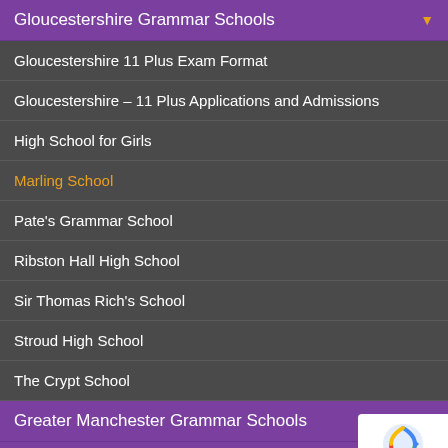Gloucestershire Grammar Schools
Gloucestershire 11 Plus Exam Format
Gloucestershire – 11 Plus Applications and Admissions
High School for Girls
Marling School
Pate's Grammar School
Ribston Hall High School
Sir Thomas Rich's School
Stroud High School
The Crypt School
Greater Manchester Grammar Schools
Hertfordshire Grammar Schools
Hertfordshire Southwest Grammar Schools
[Figure (logo): Google reCAPTCHA badge with recycle-arrow icon and Privacy - Terms text]